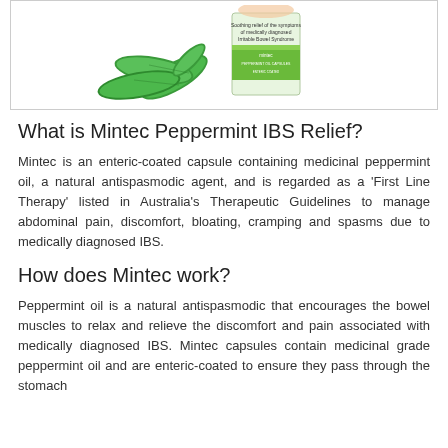[Figure (photo): Product image of Mintec Peppermint IBS Relief box with mint leaves, shown inside a bordered white box. The box packaging reads 'Soothing relief of the symptoms of medically diagnosed Irritable Bowel Syndrome'.]
What is Mintec Peppermint IBS Relief?
Mintec is an enteric-coated capsule containing medicinal peppermint oil, a natural antispasmodic agent, and is regarded as a ‘First Line Therapy’ listed in Australia’s Therapeutic Guidelines to manage abdominal pain, discomfort, bloating, cramping and spasms due to medically diagnosed IBS.
How does Mintec work?
Peppermint oil is a natural antispasmodic that encourages the bowel muscles to relax and relieve the discomfort and pain associated with medically diagnosed IBS. Mintec capsules contain medicinal grade peppermint oil and are enteric-coated to ensure they pass through the stomach